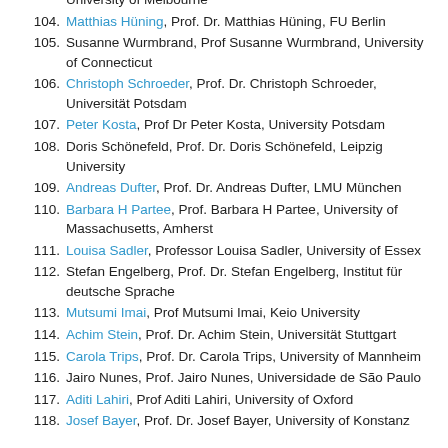University of Melbourne
104. Matthias Hüning, Prof. Dr. Matthias Hüning, FU Berlin
105. Susanne Wurmbrand, Prof Susanne Wurmbrand, University of Connecticut
106. Christoph Schroeder, Prof. Dr. Christoph Schroeder, Universität Potsdam
107. Peter Kosta, Prof Dr Peter Kosta, University Potsdam
108. Doris Schönefeld, Prof. Dr. Doris Schönefeld, Leipzig University
109. Andreas Dufter, Prof. Dr. Andreas Dufter, LMU München
110. Barbara H Partee, Prof. Barbara H Partee, University of Massachusetts, Amherst
111. Louisa Sadler, Professor Louisa Sadler, University of Essex
112. Stefan Engelberg, Prof. Dr. Stefan Engelberg, Institut für deutsche Sprache
113. Mutsumi Imai, Prof Mutsumi Imai, Keio University
114. Achim Stein, Prof. Dr. Achim Stein, Universität Stuttgart
115. Carola Trips, Prof. Dr. Carola Trips, University of Mannheim
116. Jairo Nunes, Prof. Jairo Nunes, Universidade de São Paulo
117. Aditi Lahiri, Prof Aditi Lahiri, University of Oxford
118. Josef Bayer, Prof. Dr. Josef Bayer, University of Konstanz